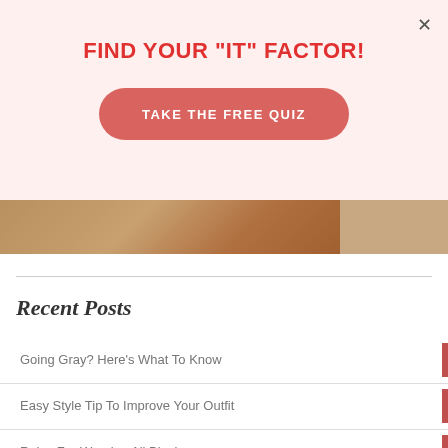FIND YOUR "IT" FACTOR!
TAKE THE FREE QUIZ
[Figure (photo): Partial photo strip showing a brown/food background image]
Recent Posts
Going Gray? Here’s What To Know
Easy Style Tip To Improve Your Outfit
Rules For Wearing All Black
Can I Still Wear Skinny Jeans If They’re Out Of Style?